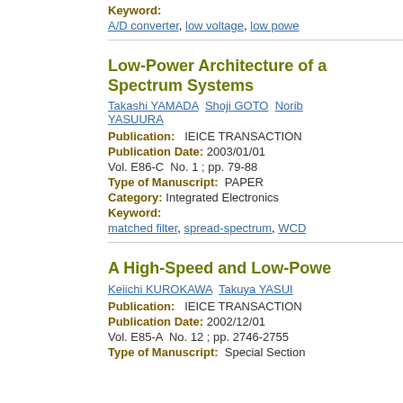Keyword:
A/D converter, low voltage, low powe
Low-Power Architecture of a Spectrum Systems
Takashi YAMADA Shoji GOTO Norib YASUURA
Publication: IEICE TRANSACTION
Publication Date: 2003/01/01
Vol. E86-C  No. 1 ; pp. 79-88
Type of Manuscript: PAPER
Category: Integrated Electronics
Keyword:
matched filter, spread-spectrum, WCD
A High-Speed and Low-Powe
Keiichi KUROKAWA Takuya YASUI
Publication: IEICE TRANSACTION
Publication Date: 2002/12/01
Vol. E85-A  No. 12 ; pp. 2746-2755
Type of Manuscript: Special Section